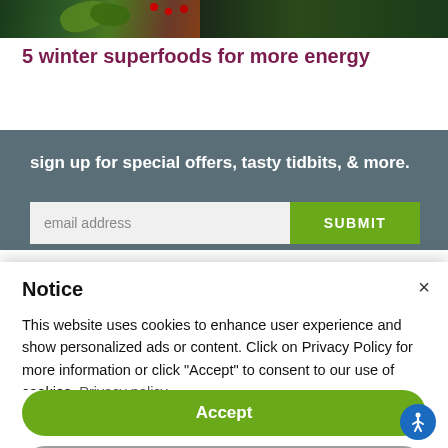[Figure (photo): Top strip showing food/plant photo with dark green leaves and berries]
5 winter superfoods for more energy
sign up for special offers, tasty tidbits, & more.
email address   SUBMIT
Notice
This website uses cookies to enhance user experience and show personalized ads or content. Click on Privacy Policy for more information or click "Accept" to consent to our use of cookies. Privacy policy
Accept
Learn more and customize